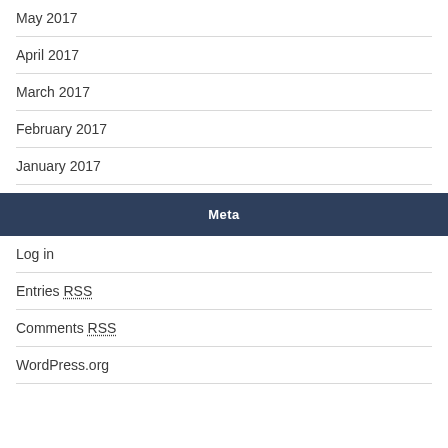May 2017
April 2017
March 2017
February 2017
January 2017
Meta
Log in
Entries RSS
Comments RSS
WordPress.org